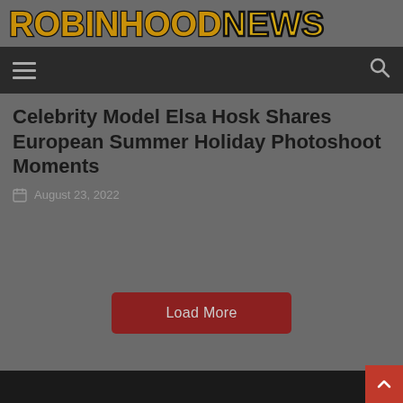[Figure (logo): RobinhoodNews logo in bold yellow/gold block letters with dark outline on gray background]
Navigation bar with hamburger menu and search icon
Celebrity Model Elsa Hosk Shares European Summer Holiday Photoshoot Moments
August 23, 2022
Load More
Footer with back-to-top button